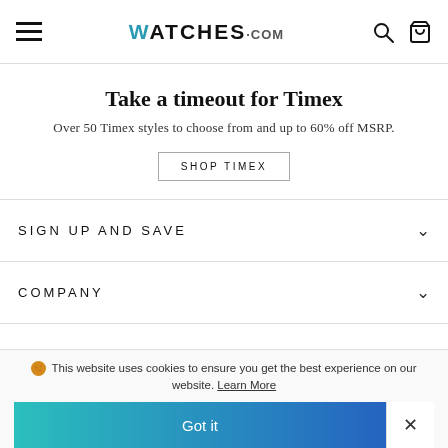WATCHES.COM
Take a timeout for Timex
Over 50 Timex styles to choose from and up to 60% off MSRP.
SHOP TIMEX
SIGN UP AND SAVE
COMPANY
This website uses cookies to ensure you get the best experience on our website. Learn More
Got it